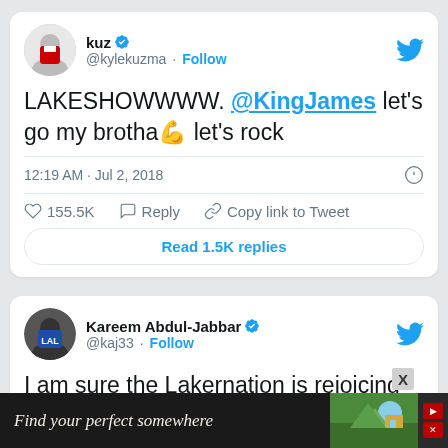[Figure (screenshot): Tweet from kuz (@kylekuzma) with verified badge and Follow button. Tweet text: LAKESHOWWWW. @KingJames let's go my brotha 💪 let's rock. Timestamp: 12:19 AM · Jul 2, 2018. 155.5K likes. Reply. Copy link to Tweet. Read 1.5K replies button.]
[Figure (screenshot): Tweet from Kareem Abdul-Jabbar (@kaj33) with verified badge and Follow button. Partial tweet text: I am sure the Lakernation is rejoicing The acquisition of LeBron James means that the]
[Figure (screenshot): Advertisement banner at bottom: Find your perfect somewhere]